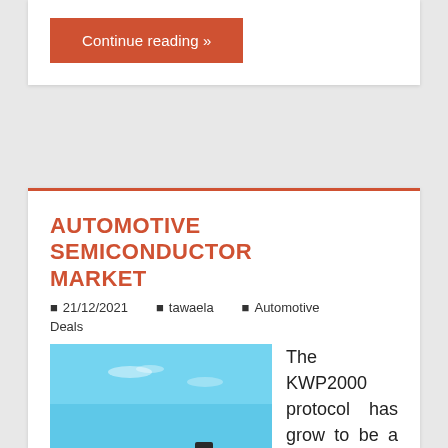Continue reading »
AUTOMOTIVE SEMICONDUCTOR MARKET
21/12/2021   tawaela   Automotive Deals
[Figure (photo): A 4x4 vehicle driving over a large sand dune against a blue sky with light clouds]
The KWP2000 protocol has grow to be a de facto